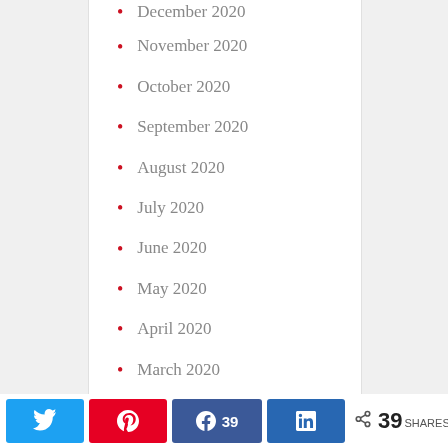December 2020
November 2020
October 2020
September 2020
August 2020
July 2020
June 2020
May 2020
April 2020
March 2020
February 2020
January 2020
39 SHARES (Twitter, Pinterest, Facebook 39, LinkedIn, Share)